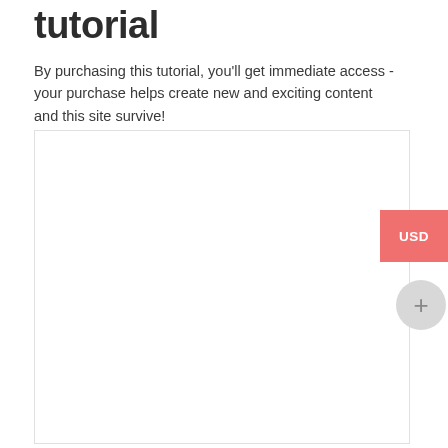tutorial
By purchasing this tutorial, you'll get immediate access - your purchase helps create new and exciting content and this site survive!
[Figure (other): Large white content box with border, a coral/red USD button on the right side, and a grey circular plus button below it]